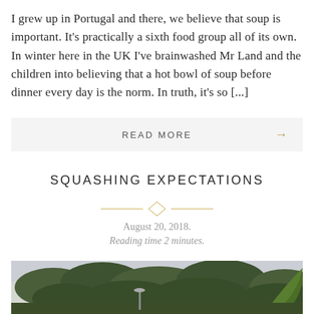I grew up in Portugal and there, we believe that soup is important. It's practically a sixth food group all of its own. In winter here in the UK I've brainwashed Mr Land and the children into believing that a hot bowl of soup before dinner every day is the norm. In truth, it's so [...]
READ MORE →
SQUASHING EXPECTATIONS
August 20, 2018.
Reading time 2 minutes.
[Figure (photo): Outdoor garden/nature scene with trees, shrubs, and large green leaves, overcast sky]